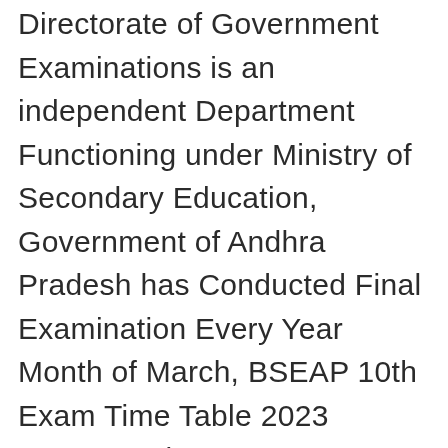Directorate of Government Examinations is an independent Department Functioning under Ministry of Secondary Education, Government of Andhra Pradesh has Conducted Final Examination Every Year Month of March, BSEAP 10th Exam Time Table 2023 Announced Very Soon,